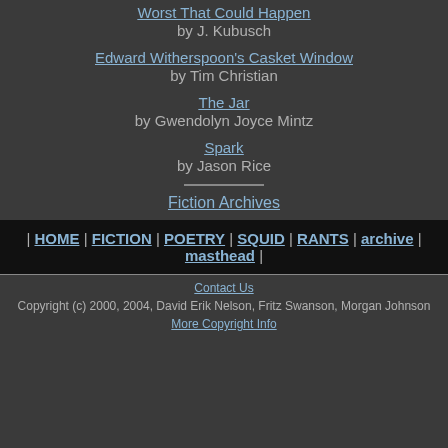Worst That Could Happen by J. Kubusch
Edward Witherspoon's Casket Window by Tim Christian
The Jar by Gwendolyn Joyce Mintz
Spark by Jason Rice
Fiction Archives
| HOME | FICTION | POETRY | SQUID | RANTS | archive | masthead |
Contact Us
Copyright (c) 2000, 2004, David Erik Nelson, Fritz Swanson, Morgan Johnson
More Copyright Info